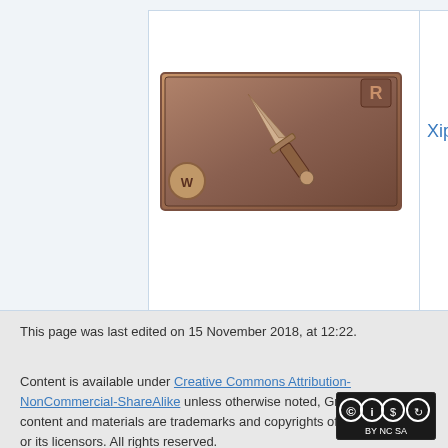[Figure (screenshot): Partial table showing a game item card for 'Xiphos' — a sword weapon card with bronze/copper coloring featuring the letter R badge, alongside shield and coin icons in a wiki-style table layout]
Xiphos
This page was last edited on 15 November 2018, at 12:22.
Content is available under Creative Commons Attribution-NonCommercial-ShareAlike unless otherwise noted, Granblue Fantasy content and materials are trademarks and copyrights of Cygames, Inc. or its licensors. All rights reserved.
[Figure (logo): Creative Commons BY-NC-SA license badge]